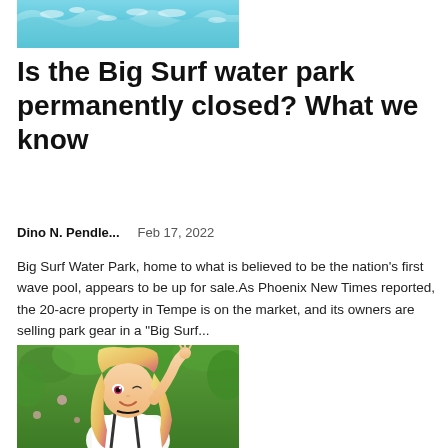[Figure (photo): Top portion of a water park scene showing a wave pool with teal/blue water and splashing waves]
Is the Big Surf water park permanently closed? What we know
Dino N. Pendle...    Feb 17, 2022
Big Surf Water Park, home to what is believed to be the nation's first wave pool, appears to be up for sale.As Phoenix New Times reported, the 20-acre property in Tempe is on the market, and its owners are selling park gear in a “Big Surf…
[Figure (illustration): Anime-style illustration of a blonde and pink-haired girl waving and smiling, outdoors with green foliage in the background]